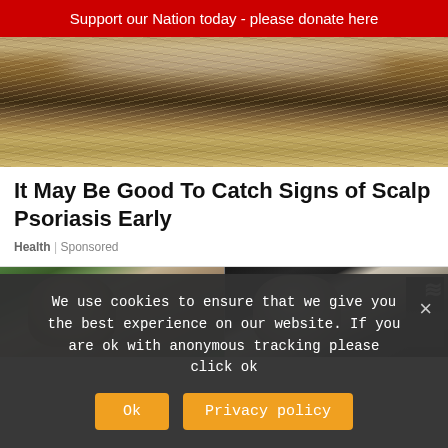Support our Nation today - please donate here
[Figure (photo): Close-up photo of a person's scalp showing dandruff/psoriasis flakes in blonde hair]
It May Be Good To Catch Signs of Scalp Psoriasis Early
Health | Sponsored
[Figure (photo): Two side-by-side photos: left shows older man with grey hair in front of green foliage, right shows older man with grey hair against dark background with white graphic]
We use cookies to ensure that we give you the best experience on our website. If you are ok with anonymous tracking please click ok
Ok
Privacy policy